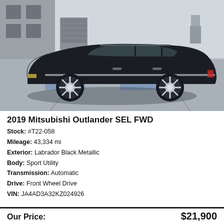[Figure (photo): Side profile photo of a black 2019 Mitsubishi Outlander SUV parked in a parking lot in front of a gray building]
2019 Mitsubishi Outlander SEL FWD
Stock: #T22-058
Mileage: 43,334 mi
Exterior: Labrador Black Metallic
Body: Sport Utility
Transmission: Automatic
Drive: Front Wheel Drive
VIN: JA4AD3A32KZ024926
Our Price: $21,900